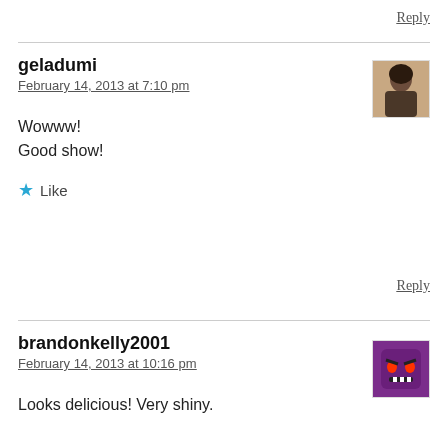Reply
geladumi
February 14, 2013 at 7:10 pm
Wowww!
Good show!
Like
Reply
brandonkelly2001
February 14, 2013 at 10:16 pm
Looks delicious! Very shiny.